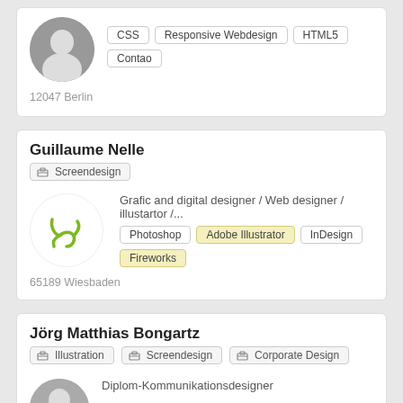[Figure (photo): Profile photo of person, circular crop, man in grey top]
CSS
Responsive Webdesign
HTML5
Contao
12047 Berlin
Guillaume Nelle
Screendesign
[Figure (logo): Green stylized logo mark on white circle background]
Grafic and digital designer / Web designer / illustartor /...
Photoshop
Adobe Illustrator
InDesign
Fireworks
65189 Wiesbaden
Jörg Matthias Bongartz
Illustration
Screendesign
Corporate Design
Diplom-Kommunikationsdesigner